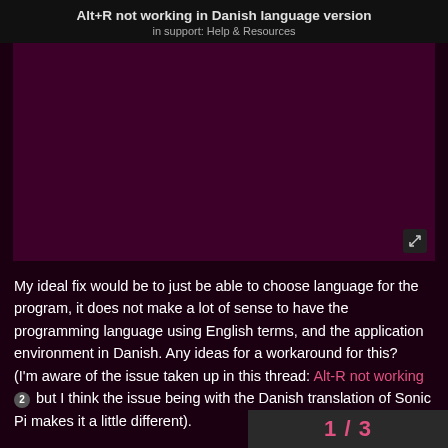Alt+R not working in Danish language version
in support: Help & Resources
[Figure (other): Dark maroon/burgundy image area, mostly empty content with an expand/fullscreen icon in the bottom right corner]
My ideal fix would be to just be able to choose language for the program, it does not make a lot of sense to have the programming language using English terms, and the application environment in Danish. Any ideas for a workaround for this? (I'm aware of the issue taken up in this thread: Alt-R not working 2 but I think the issue being with the Danish translation of Sonic Pi makes it a little different).
1 / 3